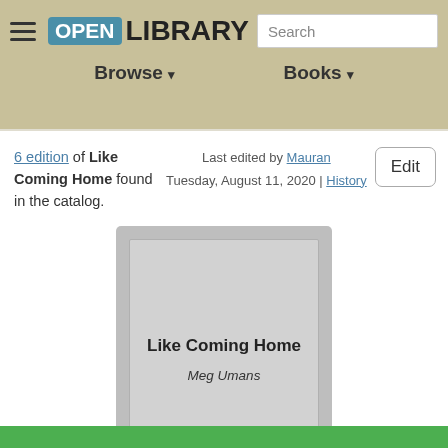Open Library — Browse | Books | Search
6 edition of Like Coming Home found in the catalog. Last edited by Mauran Tuesday, August 11, 2020 | History
[Figure (illustration): Book cover placeholder for 'Like Coming Home' by Meg Umans — gray rectangular book cover with title and author text]
Like Coming Home by Meg Umans